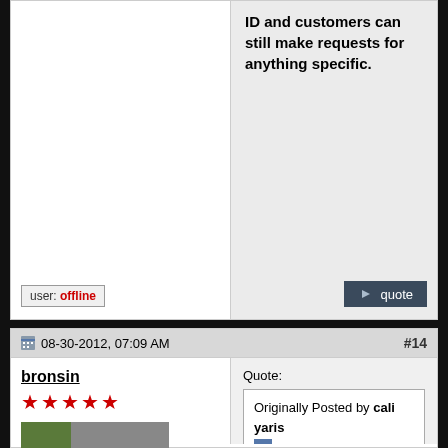ID and customers can still make requests for anything specific.
user: offline
quote
08-30-2012, 07:09 AM
#14
bronsin
★★★★★
[Figure (photo): Avatar image of a dog or animal lying on the ground/pavement]
Drives: 2009 Base Hatch 2 Dr Auto
Join Date: Dec 2008
Location: nj
Posts: 4,443
Quote:
Originally Posted by cali yaris
$3.60? Lucky you. It's $4.20 yere. Five years from now? Gas prices will be higher.

I don't finance cars, I like to buy them, so for me...